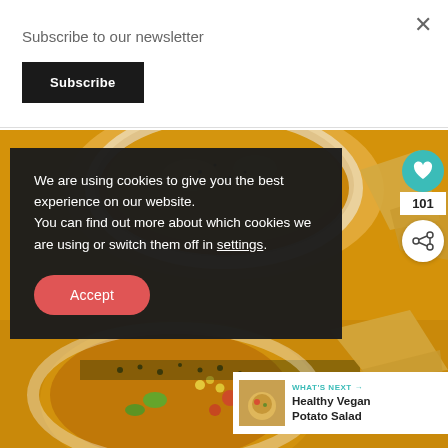Subscribe to our newsletter
Subscribe
[Figure (photo): Food photo showing a bowl of creamy soup or curry with vegetables, corn, and herbs, served with tortilla chips, viewed from above]
We are using cookies to give you the best experience on our website.
You can find out more about which cookies we are using or switch them off in settings.
Accept
101
WHAT'S NEXT →
Healthy Vegan Potato Salad